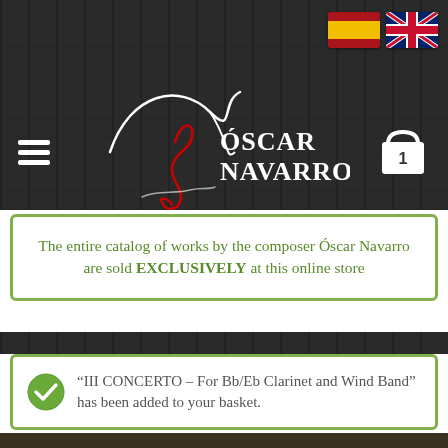[Figure (logo): Oscar Navarro composer logo with stylized signature and name text on dark wood background, with Spanish and UK flag icons top right, hamburger menu icon top left, shopping cart with number 1]
The entire catalog of works by the composer Óscar Navarro are sold EXCLUSIVELY at this online store
“III CONCERTO – For Bb/Eb Clarinet and Wind Band” has been added to your basket.